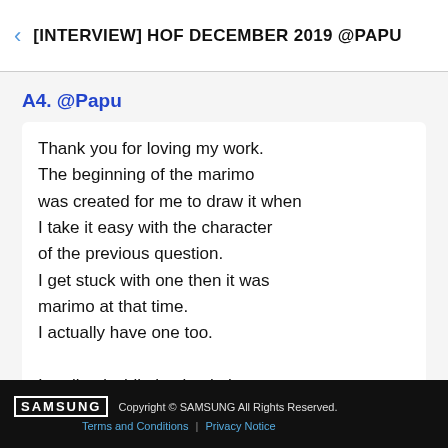[INTERVIEW] HOF DECEMBER 2019 @PAPU
A4. @Papu
Thank you for loving my work.
The beginning of the marimo was created for me to draw it when I take it easy with the character of the previous question.
I get stuck with one then it was marimo at that time.
I actually have one too.

I realized while having it that marimo has another charm than the characters inspired
SAMSUNG  Copyright © SAMSUNG All Rights Reserved.
Terms and Conditions | Privacy Notice